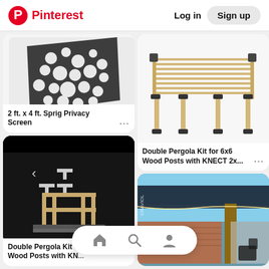Pinterest  Log in  Sign up
[Figure (photo): 2 ft. x 4 ft. decorative metal privacy screen panel with organic bubble/pebble pattern cutouts, shown at angle on light gray background]
2 ft. x 4 ft. Sprig Privacy Screen
[Figure (photo): Double pergola kit structure with wooden slat top and metal connector joints on six posts, shown on white background]
Double Pergola Kit for 6x6 Wood Posts with KNECT 2x...
[Figure (photo): Double pergola assembly kit with parts laid out on dark/black background showing metal connectors and wooden post components]
Double Pergola Kit with Wood Posts with KN...
[Figure (photo): Outdoor patio pergola with dark roof covering attached to brick house, with string lights visible, blue sky background, CRAVIOL branded image]